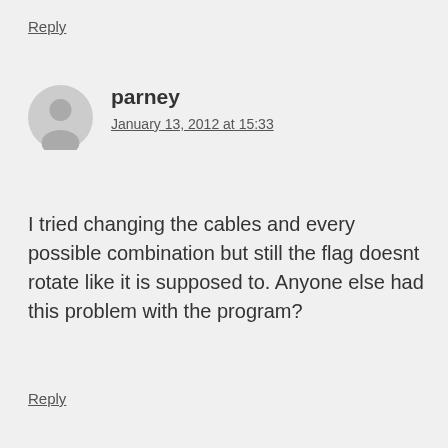Reply
parney
January 13, 2012 at 15:33
I tried changing the cables and every possible combination but still the flag doesnt rotate like it is supposed to. Anyone else had this problem with the program?
Reply